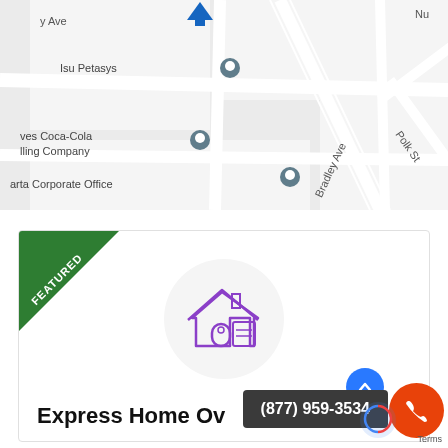[Figure (map): Google Maps screenshot showing streets including Bradley Ave, Lakeside Ave, Polk St. Landmarks visible: Isu Petasys, Coca-Cola Bottling Company, arta Corporate Office, Frank Hallak Jr Mini Mart, Santa Child. Blue location pin at top center.]
[Figure (infographic): Featured listing card with green 'FEATURED' ribbon badge in top-left corner, circular house icon in center top area.]
Express Home Ov
(877) 959-3534
Terms